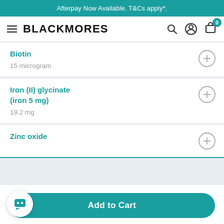Afterpay Now Available. T&Cs apply*.
[Figure (screenshot): Blackmores website navigation bar with hamburger menu, BLACKMORES logo, search icon, account icon, and cart icon with badge showing 0]
Biotin
15 microgram
Iron (II) glycinate (iron 5 mg)
19.2 mg
Zinc oxide